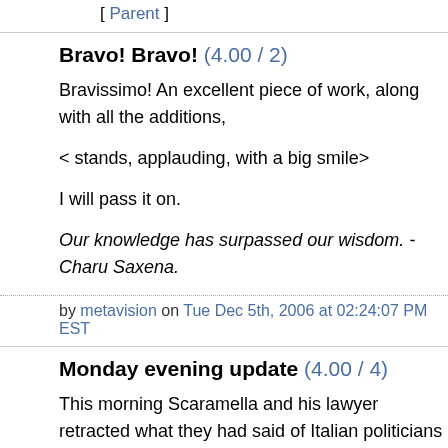[ Parent ]
Bravo! Bravo! (4.00 / 2)
Bravissimo!  An excellent piece of work, along with all the additions,
< stands, applauding, with a big smile>
I will pass it on.
Our knowledge has surpassed our wisdom. -Charu Saxena.
by metavision on Tue Dec 5th, 2006 at 02:24:07 PM EST
Monday evening update (4.00 / 4)
This morning Scaramella and his lawyer retracted what they had said of Italian politicians and reporters.
This evening he's changed his mind. Now he has a video of Litvinenko Italians.
In the meantime, the Naples Procura has raided Scaramella's office for illegal traffic of waste. Not bad for a guy whose American company